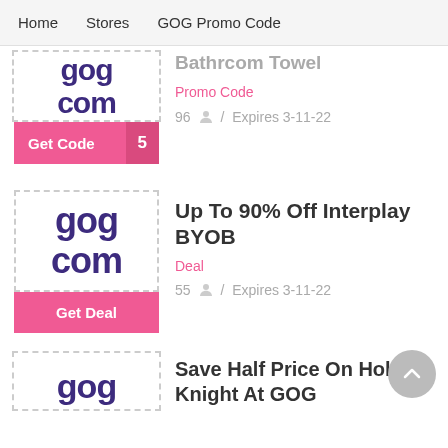Home   Stores   GOG Promo Code
Promo Code
96 / Expires 3-11-22
[Figure (logo): GOG.com logo with Get Code button showing number 5]
Up To 90% Off Interplay BYOB
Deal
55 / Expires 3-11-22
[Figure (logo): GOG.com logo with Get Deal button]
Save Half Price On Hollow Knight At GOG
[Figure (logo): GOG.com logo partial (third card, cropped)]